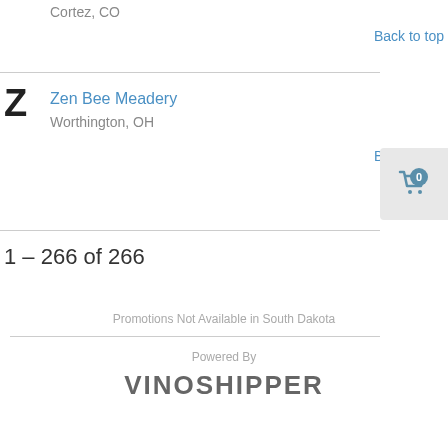Cortez, CO
Back to top
Z
Zen Bee Meadery
Worthington, OH
Back to top
1 – 266 of 266
Promotions Not Available in South Dakota
Powered By
VINOSHIPPER